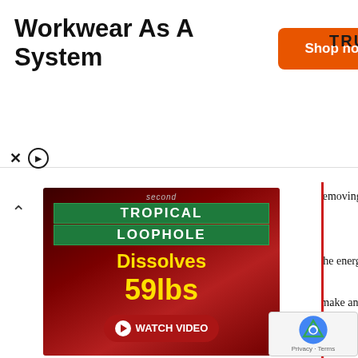[Figure (infographic): Advertisement banner for Truewerk workwear with 'Shop now' orange button and TRUEWERK brand logo. Title reads: Workwear As A System]
[Figure (infographic): Left sidebar advertisement for 'Second Tropical Loophole Dissolves 59lbs' weight loss product with Watch Video button, dark red background]
Keeping the clothes is like assuming weight loss attempts. By removing larger urself to move forward with your weight
advertised as low-calorie or low-fat eight.
caf. Caffeine is said to encourage t to stay away from it. Plus, the energy e coffee is still there so that your doesn't suffer.
sing weight is to serve your food tes. Smaller dinnerware will make and a lower urge to eat more. This is an